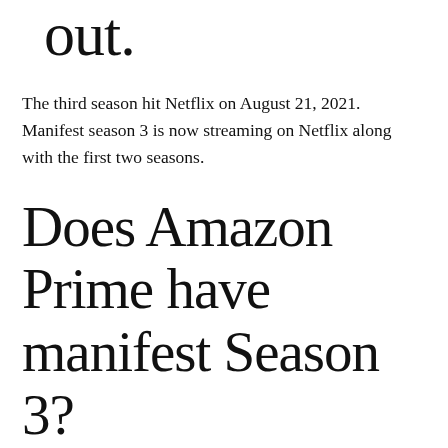out.
The third season hit Netflix on August 21, 2021. Manifest season 3 is now streaming on Netflix along with the first two seasons.
Does Amazon Prime have manifest Season 3?
Manifest Season 3 Release Date Watch Online Free on Amazon Prime Video. The show had dropped its 13 episodes between April 1, 2021, and June 10, 2021, every week and now the